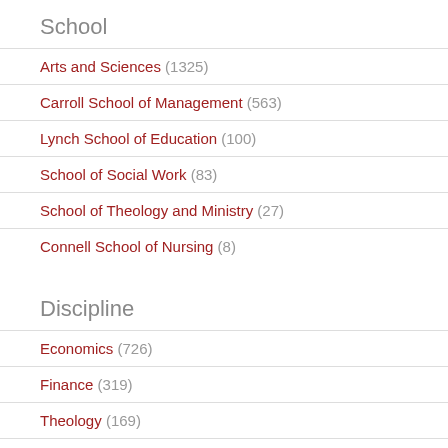School
Arts and Sciences (1325)
Carroll School of Management (563)
Lynch School of Education (100)
School of Social Work (83)
School of Theology and Ministry (27)
Connell School of Nursing (8)
Discipline
Economics (726)
Finance (319)
Theology (169)
Business Law (127)
Social Work (83)
Education (80)
Show more
C…